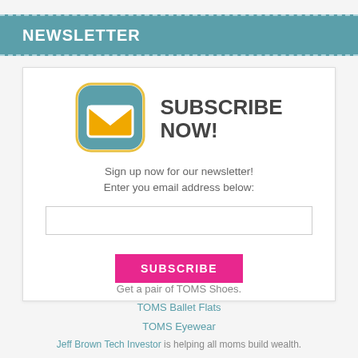NEWSLETTER
[Figure (illustration): Email envelope icon with teal rounded square background and yellow envelope, with bold text SUBSCRIBE NOW! to the right]
Sign up now for our newsletter! Enter you email address below:
[email input field]
SUBSCRIBE
Get a pair of TOMS Shoes.
TOMS Ballet Flats
TOMS Eyewear
Jeff Brown Tech Investor is helping all moms build wealth.